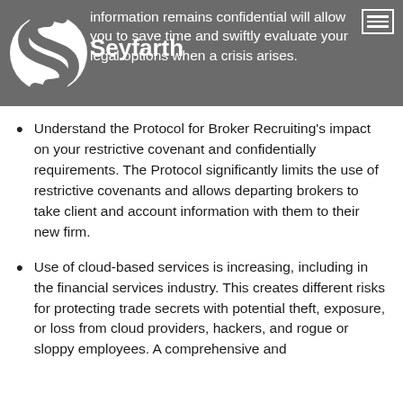information remains confidential will allow you to save time and swiftly evaluate your legal options when a crisis arises.
Understand the Protocol for Broker Recruiting's impact on your restrictive covenant and confidentially requirements. The Protocol significantly limits the use of restrictive covenants and allows departing brokers to take client and account information with them to their new firm.
Use of cloud-based services is increasing, including in the financial services industry. This creates different risks for protecting trade secrets with potential theft, exposure, or loss from cloud providers, hackers, and rogue or sloppy employees. A comprehensive and